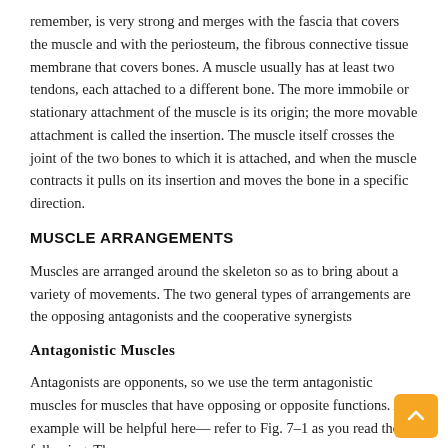remember, is very strong and merges with the fascia that covers the muscle and with the periosteum, the fibrous connective tissue membrane that covers bones. A muscle usually has at least two tendons, each attached to a different bone. The more immobile or stationary attachment of the muscle is its origin; the more movable attachment is called the insertion. The muscle itself crosses the joint of the two bones to which it is attached, and when the muscle contracts it pulls on its insertion and moves the bone in a specific direction.
MUSCLE ARRANGEMENTS
Muscles are arranged around the skeleton so as to bring about a variety of movements. The two general types of arrangements are the opposing antagonists and the cooperative synergists
Antagonistic Muscles
Antagonists are opponents, so we use the term antagonistic muscles for muscles that have opposing or opposite functions. An example will be helpful here— refer to Fig. 7–1 as you read the following. The